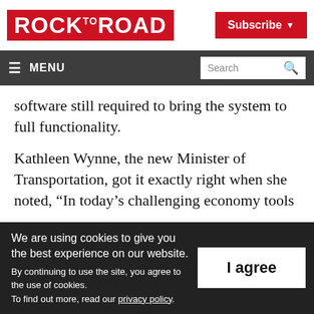ROCK TO ROAD
Subscribe
≡ MENU  Search
software still required to bring the system to full functionality.
Kathleen Wynne, the new Minister of Transportation, got it exactly right when she noted, “In today’s challenging economy tools
We are using cookies to give you the best experience on our website. By continuing to use the site, you agree to the use of cookies. To find out more, read our privacy policy.
I agree